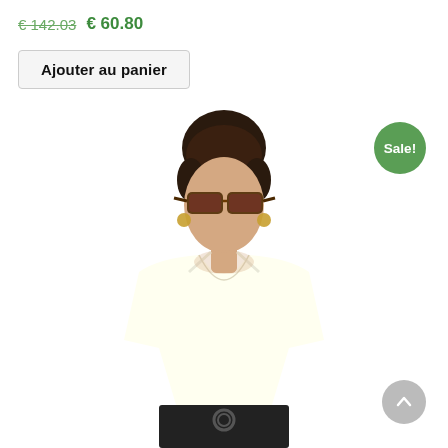€142.03  €60.80
Ajouter au panier
[Figure (photo): Fashion model wearing sunglasses and a white spaghetti-strap top with black pants, photographed against a white background. A green 'Sale!' badge appears in the upper right corner of the image.]
Sale!